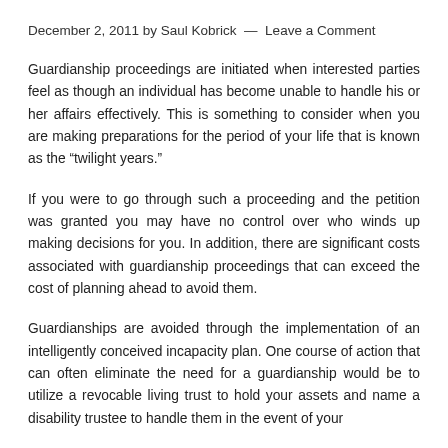December 2, 2011 by Saul Kobrick — Leave a Comment
Guardianship proceedings are initiated when interested parties feel as though an individual has become unable to handle his or her affairs effectively. This is something to consider when you are making preparations for the period of your life that is known as the “twillight years.”
If you were to go through such a proceeding and the petition was granted you may have no control over who winds up making decisions for you. In addition, there are significant costs associated with guardianship proceedings that can exceed the cost of planning ahead to avoid them.
Guardianships are avoided through the implementation of an intelligently conceived incapacity plan. One course of action that can often eliminate the need for a guardianship would be to utilize a revocable living trust to hold your assets and name a disability trustee to handle them in the event of your